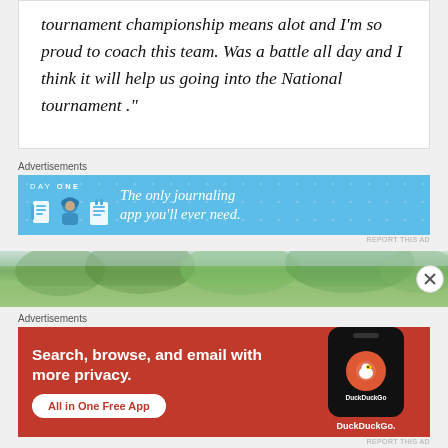tournament championship means alot and I'm so proud to coach this team. Was a battle all day and I think it will help us going into the National tournament ."
[Figure (other): Day One journaling app advertisement banner with blue background, app icons, and text 'The only journaling app you'll ever need.']
[Figure (photo): Wide outdoor photo strip showing trees with foliage against sky, partially visible with close button]
[Figure (other): DuckDuckGo advertisement with red/orange background, phone mockup, headline 'Search, browse, and email with more privacy.' and CTA 'All in One Free App']